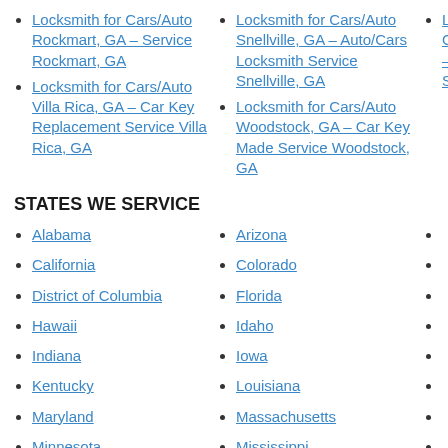Locksmith for Cars/Auto Rockmart, GA – Service Rockmart, GA
Locksmith for Cars/Auto Villa Rica, GA – Car Key Replacement Service Villa Rica, GA
Locksmith for Cars/Auto Snellville, GA – Auto/Cars Locksmith Service Snellville, GA
Locksmith for Cars/Auto Woodstock, GA – Car Key Made Service Woodstock, GA
Locksmith for Cars/Auto Suw... GA –
STATES WE SERVICE
Alabama
California
District of Columbia
Hawaii
Indiana
Kentucky
Maryland
Minnesota
Montana
Arizona
Colorado
Florida
Idaho
Iowa
Louisiana
Massachusetts
Mississippi
Nebraska